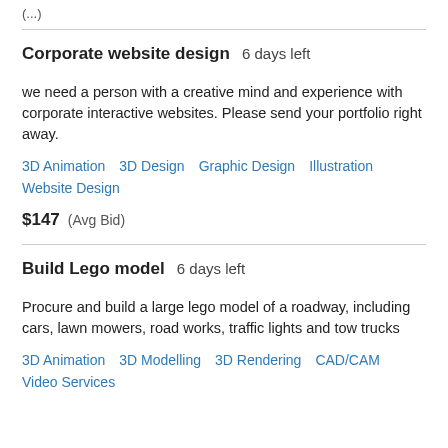(…)
Corporate website design  6 days left
we need a person with a creative mind and experience with corporate interactive websites. Please send your portfolio right away.
3D Animation   3D Design   Graphic Design   Illustration   Website Design
$147  (Avg Bid)
Build Lego model  6 days left
Procure and build a large lego model of a roadway, including cars, lawn mowers, road works, traffic lights and tow trucks
3D Animation   3D Modelling   3D Rendering   CAD/CAM   Video Services